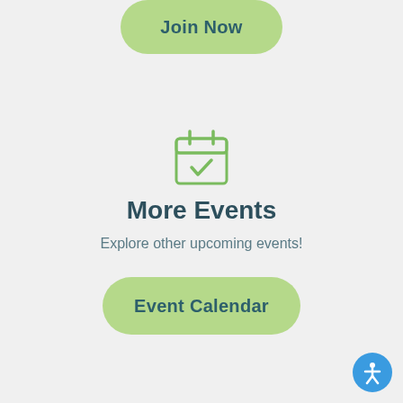[Figure (illustration): Green rounded rectangle button labeled 'Join Now' at top center]
[Figure (illustration): Calendar icon with a checkmark, outlined in green, centered on the page]
More Events
Explore other upcoming events!
[Figure (illustration): Green rounded rectangle button labeled 'Event Calendar']
[Figure (illustration): Blue circular accessibility icon in lower right corner]